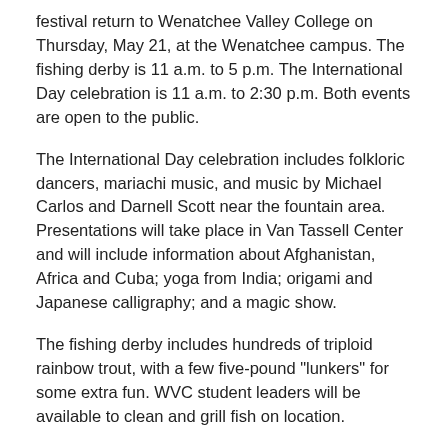festival return to Wenatchee Valley College on Thursday, May 21, at the Wenatchee campus. The fishing derby is 11 a.m. to 5 p.m. The International Day celebration is 11 a.m. to 2:30 p.m. Both events are open to the public.
The International Day celebration includes folkloric dancers, mariachi music, and music by Michael Carlos and Darnell Scott near the fountain area. Presentations will take place in Van Tassell Center and will include information about Afghanistan, Africa and Cuba; yoga from India; origami and Japanese calligraphy; and a magic show.
The fishing derby includes hundreds of triploid rainbow trout, with a few five-pound "lunkers" for some extra fun. WVC student leaders will be available to clean and grill fish on location.
The cost for the fishing derby is $5 for a rod and the first fish, $1 for each additional fish, with a limit of three fish per angler. WVC students and their families fish for free.
Food will be available for purchase, and children's games